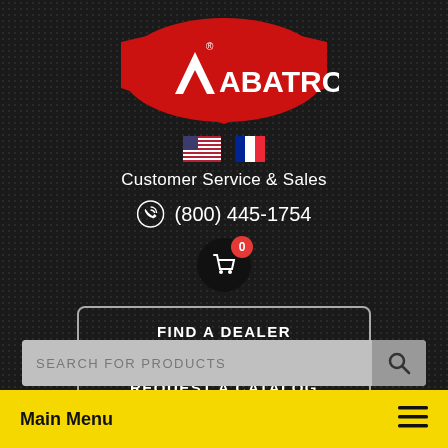[Figure (logo): Abatron logo: red rounded diamond shape with white triangle/A icon and white text ABATRON with registered trademark symbol]
[Figure (illustration): US flag and French flag icons side by side]
Customer Service & Sales
(800) 445-1754
[Figure (illustration): Shopping cart icon in black circle with red badge showing 0]
FIND A DEALER
REQUEST A CATALOG
SEARCH FOR PRODUCTS
Main Menu